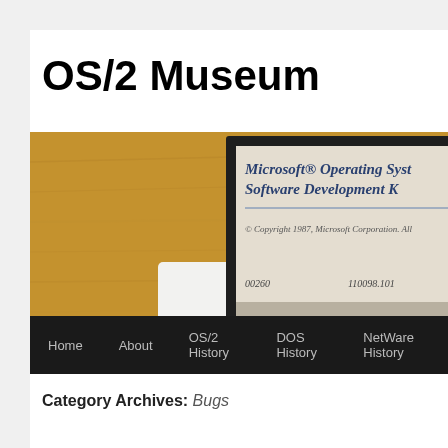OS/2 Museum
[Figure (photo): Photo of a Microsoft Operating System/2 Software Development Kit box on a wooden surface, with a navigation bar showing Home, About, OS/2 History, DOS History, NetWare History links at the bottom.]
Category Archives: Bugs